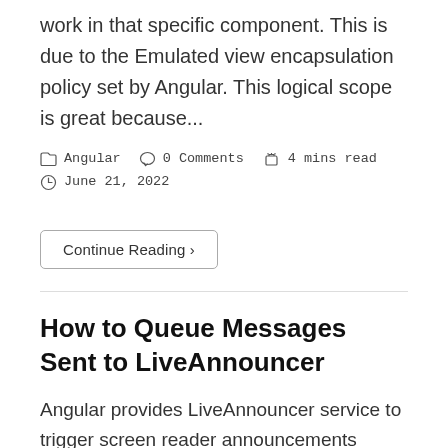work in that specific component. This is due to the Emulated view encapsulation policy set by Angular. This logical scope is great because...
Angular   0 Comments   4 mins read   June 21, 2022
Continue Reading ›
How to Queue Messages Sent to LiveAnnouncer
Angular provides LiveAnnouncer service to trigger screen reader announcements programmatically. It works well in simple scenarios but fails to queue